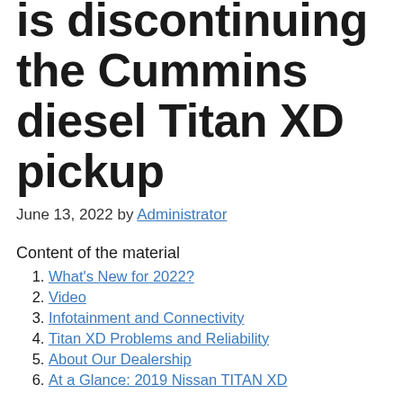is discontinuing the Cummins diesel Titan XD pickup
June 13, 2022 by Administrator
Content of the material
What's New for 2022?
Video
Infotainment and Connectivity
Titan XD Problems and Reliability
About Our Dealership
At a Glance: 2019 Nissan TITAN XD